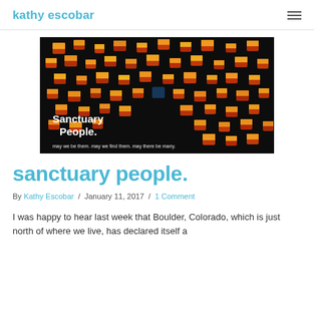kathy escobar
[Figure (photo): Dark background image of many glowing orange and red paper lanterns floating on water, with white text overlay reading 'Sanctuary People.' and subtext 'may we be them. may we find them. may there be many.']
sanctuary people.
By Kathy Escobar / January 11, 2017 / 1 Comment
I was happy to hear last week that Boulder, Colorado, which is just north of where we live, has declared itself a